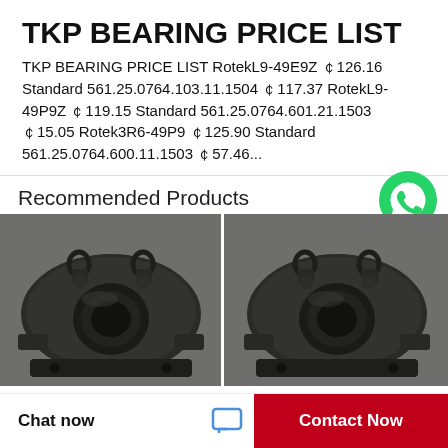TKP BEARING PRICE LIST
TKP BEARING PRICE LIST RotekL9-49E9Z ￠126.16 Standard 561.25.0764.103.11.1504 ￠117.37 RotekL9-49P9Z ￠119.15 Standard 561.25.0764.601.21.1503 ￠15.05 Rotek3R6-49P9 ￠125.90 Standard 561.25.0764.600.11.1503 ￠57.46...
Recommended Products
[Figure (photo): Black bearing housing unit photographed from above-front angle showing circular bore and mounting flanges]
[Figure (photo): Black bearing housing unit photographed from above-front angle showing circular bore and mounting flanges, similar to left image]
Chat now
Contact Now